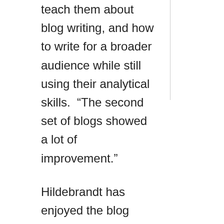teach them about blog writing, and how to write for a broader audience while still using their analytical skills.  “The second set of blogs showed a lot of improvement.”
Hildebrandt has enjoyed the blog writing process, though she admits that it is a little challenging. “We have to integrate our theoretical knowledge